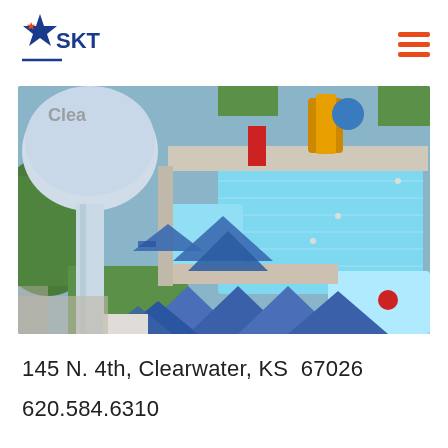[Figure (logo): SKT company logo with blue and orange star graphic and 'SKT' text in blue]
[Figure (photo): Aerial drone view of Clearwater, KS aquatic/pool facility with water tower in foreground, swimming pools, blue-roofed buildings, water slides, and shade structures]
145 N. 4th, Clearwater, KS  67026
620.584.6310